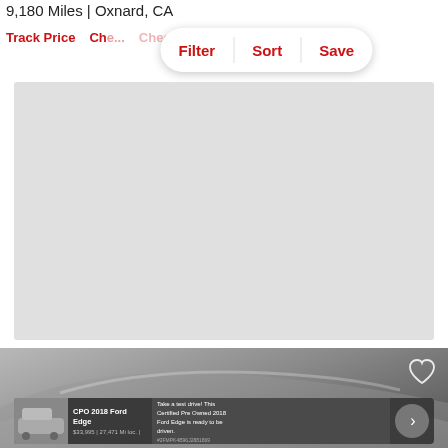9,180 Miles | Oxnard, CA
Track Price   Che...
Filter   Sort   Save
[Figure (other): Gray placeholder advertisement rectangle]
[Figure (photo): Partial view of a silver/white car (SUV) from the side, showing roof, window, and mirror]
[Figure (other): Advertisement banner for CPO 2018 Ford Edge with thumbnail, title, description, and arrow button]